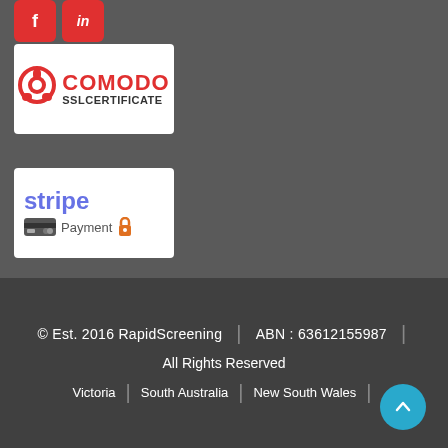[Figure (logo): Facebook and LinkedIn social media buttons (red square icons with f and in)]
[Figure (logo): Comodo SSL Certificate badge on white background]
[Figure (logo): Stripe Payment badge with lock icon on white background]
© Est. 2016 RapidScreening | ABN : 63612155987 | All Rights Reserved | Victoria | South Australia | New South Wales |